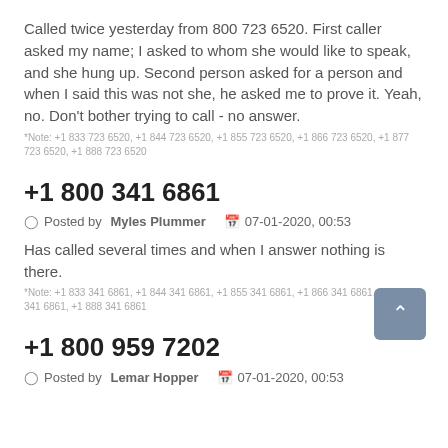Called twice yesterday from 800 723 6520. First caller asked my name; I asked to whom she would like to speak, and she hung up. Second person asked for a person and when I said this was not she, he asked me to prove it. Yeah, no. Don't bother trying to call - no answer.
*Note: +1 833 723 6520, +1 844 723 6520, +1 855 723 6520, +1 866 723 6520, +1 877 723 6520, +1 888 723 6520
+1 800 341 6861
Posted by Myles Plummer   07-01-2020, 00:53
Has called several times and when I answer nothing is there.
*Note: +1 833 341 6861, +1 844 341 6861, +1 855 341 6861, +1 866 341 6861, +1 877 341 6861, +1 888 341 6861
+1 800 959 7202
Posted by Lemar Hopper   07-01-2020, 00:53